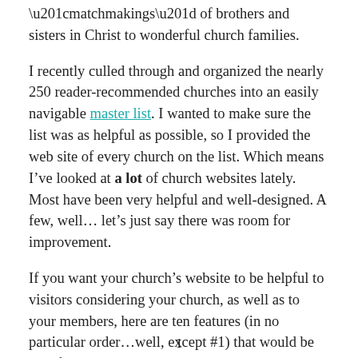“matchmakings” of brothers and sisters in Christ to wonderful church families.
I recently culled through and organized the nearly 250 reader-recommended churches into an easily navigable master list. I wanted to make sure the list was as helpful as possible, so I provided the web site of every church on the list. Which means I’ve looked at a lot of church websites lately. Most have been very helpful and well-designed. A few, well… let’s just say there was room for improvement.
If you want your church’s website to be helpful to visitors considering your church, as well as to your members, here are ten features (in no particular order…well, except #1) that would be beneficial:
1